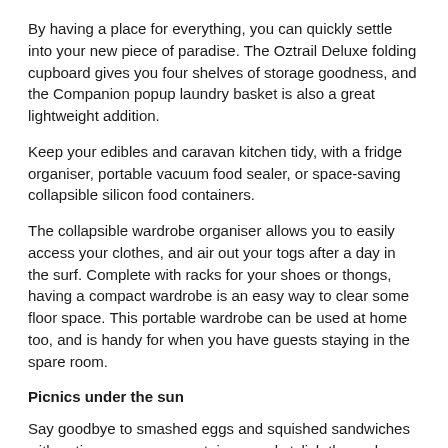By having a place for everything, you can quickly settle into your new piece of paradise. The Oztrail Deluxe folding cupboard gives you four shelves of storage goodness, and the Companion popup laundry basket is also a great lightweight addition.
Keep your edibles and caravan kitchen tidy, with a fridge organiser, portable vacuum food sealer, or space-saving collapsible silicon food containers.
The collapsible wardrobe organiser allows you to easily access your clothes, and air out your togs after a day in the surf. Complete with racks for your shoes or thongs, having a compact wardrobe is an easy way to clear some floor space. This portable wardrobe can be used at home too, and is handy for when you have guests staying in the spare room.
Picnics under the sun
Say goodbye to smashed eggs and squished sandwiches with anti-pressure egg containers and stylish thermal insulated tote carry bags for your lunch. Choose from tree patterns and stripes, and adorable animal themed options for the kids.